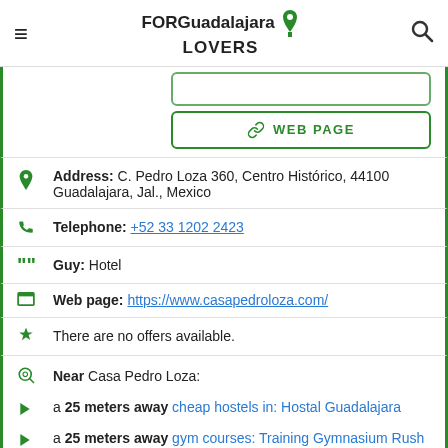FOR Guadalajara LOVERS
WEB PAGE
Address: C. Pedro Loza 360, Centro Histórico, 44100 Guadalajara, Jal., Mexico
Telephone: +52 33 1202 2423
Guy: Hotel
Web page: https://www.casapedroloza.com/
There are no offers available.
Near Casa Pedro Loza:
a 25 meters away cheap hostels in: Hostal Guadalajara
a 25 meters away gym courses: Training Gymnasium Rush